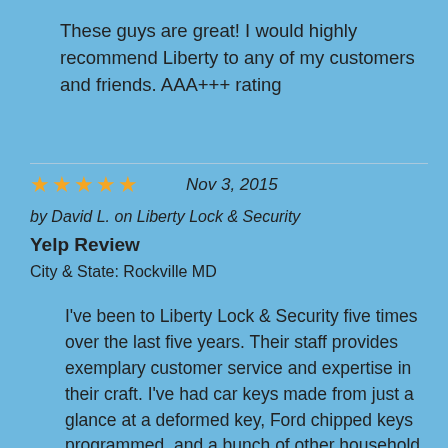These guys are great! I would highly recommend Liberty to any of my customers and friends. AAA+++ rating
★★★★★  Nov 3, 2015
by David L. on Liberty Lock & Security
Yelp Review
City & State: Rockville MD
I've been to Liberty Lock & Security five times over the last five years. Their staff provides exemplary customer service and expertise in their craft. I've had car keys made from just a glance at a deformed key, Ford chipped keys programmed, and a bunch of other household locksmith needs taken care of well by the folks at Liberty. Furthermore, I consider their pricing to